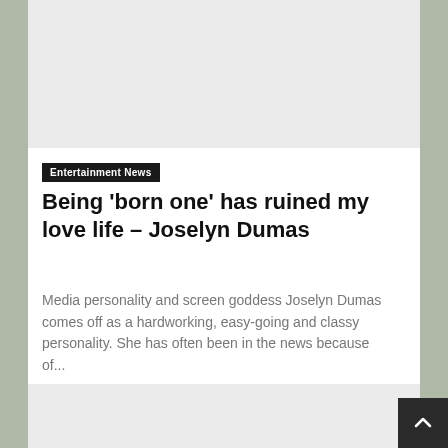[Figure (other): Gray advertisement placeholder block at top of page]
Entertainment News
Being ‘born one’ has ruined my love life – Joselyn Dumas
Media personality and screen goddess Joselyn Dumas comes off as a hardworking, easy-going and classy personality. She has often been in the news because of...
[Figure (other): Gray advertisement placeholder block at bottom of page]